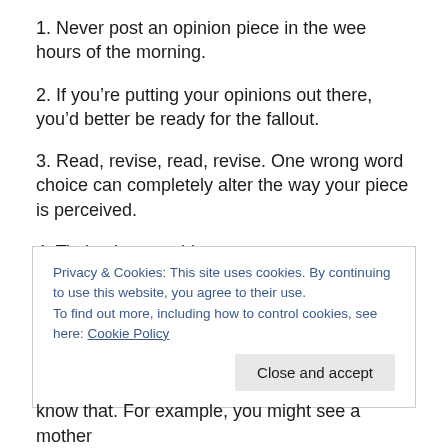1. Never post an opinion piece in the wee hours of the morning.
2. If you’re putting your opinions out there, you’d better be ready for the fallout.
3. Read, revise, read, revise. One wrong word choice can completely alter the way your piece is perceived.
4. Timing is everything.
Privacy & Cookies: This site uses cookies. By continuing to use this website, you agree to their use.
To find out more, including how to control cookies, see here: Cookie Policy
know that. For example, you might see a mother